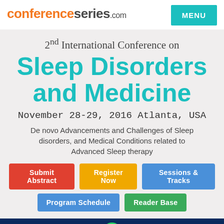conferenceseries.com
[Figure (other): MENU button in teal/cyan color]
2nd International Conference on Sleep Disorders and Medicine
November 28-29, 2016 Atlanta, USA
De novo Advancements and Challenges of Sleep disorders, and Medical Conditions related to Advanced Sleep therapy
Submit Abstract | Register Now | Sessions & Tracks | Program Schedule | Reader Base